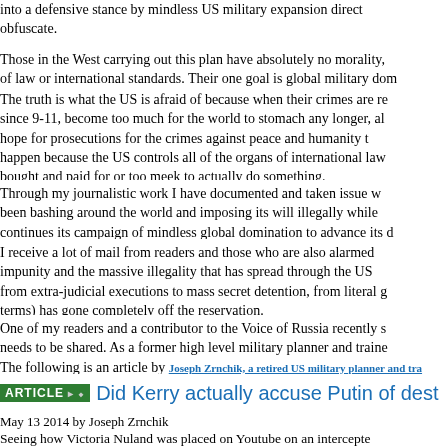into a defensive stance by mindless US military expansion directly obfuscate.
Those in the West carrying out this plan have absolutely no morality, of law or international standards. Their one goal is global military dom
The truth is what the US is afraid of because when their crimes are re since 9-11, become too much for the world to stomach any longer, al hope for prosecutions for the crimes against peace and humanity t happen because the US controls all of the organs of international law bought and paid for or too meek to actually do something.
Through my journalistic work I have documented and taken issue w been bashing around the world and imposing its will illegally while continues its campaign of mindless global domination to advance its d
I receive a lot of mail from readers and those who are also alarmed impunity and the massive illegality that has spread through the US from extra-judicial executions to mass secret detention, from literal g terms) has gone completely off the reservation.
One of my readers and a contributor to the Voice of Russia recently s needs to be shared. As a former high level military planner and traine The following is an article by Joseph Zrnchik, a retired US military planner and tra
Did Kerry actually accuse Putin of dest
May 13 2014 by Joseph Zrnchik
Seeing how Victoria Nuland was placed on Youtube on an intercepte is then seen on Youtube bragging about how the U.S. had funded o one would have to be impaired to take John Kerry's latest remarks se
After the US State Department funded anarchy and helped to pa